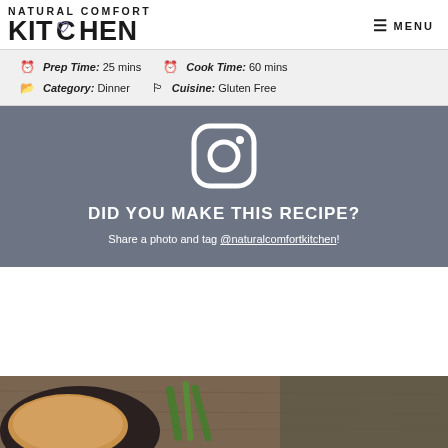[Figure (logo): Natural Comfort Kitchen logo with stylized text and small heart/diamond icon]
≡ MENU
🕐 Prep Time: 25 mins   🕐 Cook Time: 60 mins
📁 Category: Dinner   🏷 Cuisine: Gluten Free
[Figure (infographic): Instagram social share block on grey background with Instagram icon, text DID YOU MAKE THIS RECIPE? Share a photo and tag @naturalcomfortkitchen!]
[Figure (photo): Partial food photo at bottom showing a dark bowl with rice/risotto dish on a wooden surface with green onions]